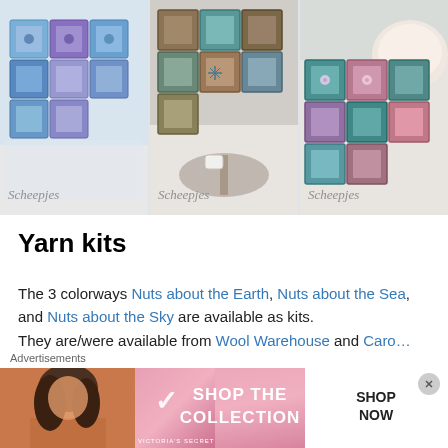[Figure (photo): Three side-by-side photos of crochet blankets in different colorways draped over furniture. Each photo is watermarked with 'Scheepjes' in the bottom-left corner. Left: blue and purple granny square blanket. Center: brown and teal colorway blanket on a round table. Right: teal and pink colorway blanket with decorative pillow.]
Yarn kits
The 3 colorways Nuts about the Earth, Nuts about the Sea, and Nuts about the Sky are available as kits. They are/were available from Wool Warehouse and Caro...
Advertisements
[Figure (photo): Victoria's Secret advertisement banner with a model on a pink background. Shows the VS logo, text 'SHOP THE COLLECTION' and a white 'SHOP NOW' button.]